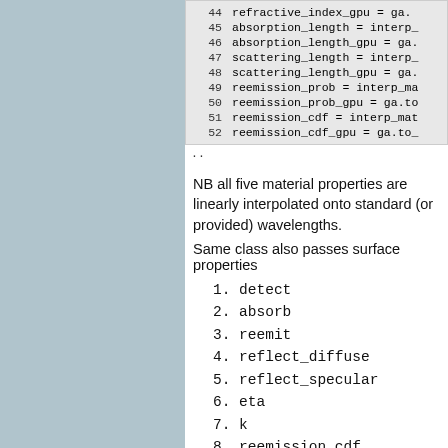[Figure (screenshot): Code block showing lines 44-52 with variable assignments for refractive_index_gpu, absorption_length, absorption_length_gpu, scattering_length, scattering_length_gpu, reemission_prob, reemission_prob_gpu, reemission_cdf, reemission_cdf_gpu, followed by '..']
NB all five material properties are linearly interpolated onto standard (or provided) wavelengths.
Same class also passes surface properties
1. detect
2. absorb
3. reemit
4. reflect_diffuse
5. reflect_specular
6. eta
7. k
8. reemission_cdf